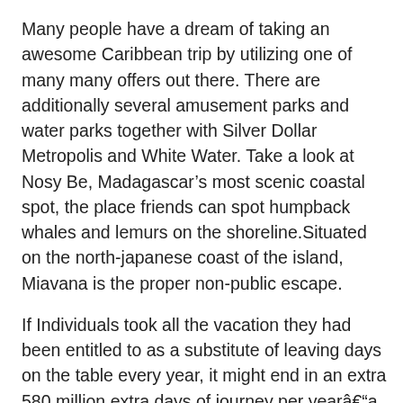Many people have a dream of taking an awesome Caribbean trip by utilizing one of many many offers out there. There are additionally several amusement parks and water parks together with Silver Dollar Metropolis and White Water. Take a look at Nosy Be, Madagascar’s most scenic coastal spot, the place friends can spot humpback whales and lemurs on the shoreline.Situated on the north-japanese coast of the island, Miavana is the proper non-public escape.
If Individuals took all the vacation they had been entitled to as a substitute of leaving days on the table every year, it might end in an extra 580 million extra days of journey per yearâ€“a $a hundred and sixty billion enhance to the economic system. What one can find is beautiful beaches, pristine kelp forests, and pleura of marine life.
Household Spring Break Trip Tip #3 – Santa Barbara Is Household Pleasant Destination: A Santa Barbara vacation rental house is extra than just beautiful house to have spring